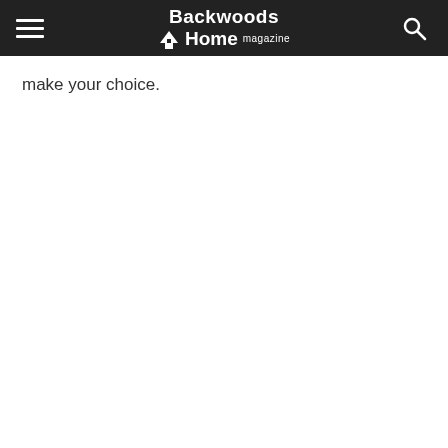Backwoods Home magazine
make your choice.